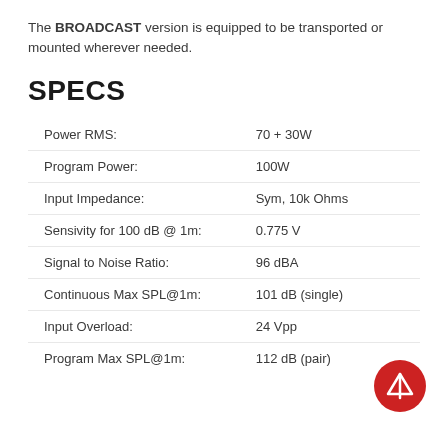The BROADCAST version is equipped to be transported or mounted wherever needed.
SPECS
| Specification | Value |
| --- | --- |
| Power RMS: | 70 + 30W |
| Program Power: | 100W |
| Input Impedance: | Sym, 10k Ohms |
| Sensivity for 100 dB @ 1m: | 0.775 V |
| Signal to Noise Ratio: | 96 dBA |
| Continuous Max SPL@1m: | 101 dB (single) |
| Input Overload: | 24 Vpp |
| Program Max SPL@1m: | 112 dB (pair) |